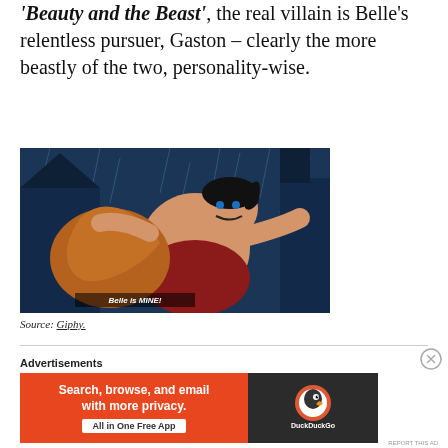'Beauty and the Beast', the real villain is Belle's relentless pursuer, Gaston – clearly the more beastly of the two, personality-wise.
[Figure (illustration): Animated scene from Beauty and the Beast showing Gaston with subtitle 'Belle is MINE!']
Source: Giphy.
Advertisements
[Figure (other): DuckDuckGo advertisement banner: 'Search, browse, and email with more privacy. All in One Free App']